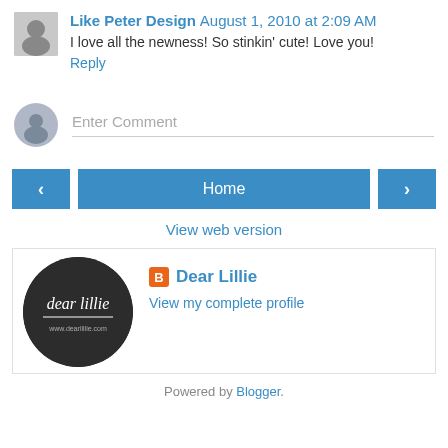Like Peter Design  August 1, 2010 at 2:09 AM
I love all the newness! So stinkin' cute! Love you!
Reply
Enter Comment
< Home >
View web version
Dear Lillie
View my complete profile
Powered by Blogger.